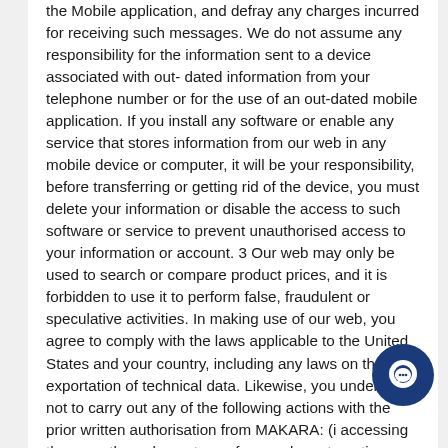the Mobile application, and defray any charges incurred for receiving such messages. We do not assume any responsibility for the information sent to a device associated with out- dated information from your telephone number or for the use of an out-dated mobile application. If you install any software or enable any service that stores information from our web in any mobile device or computer, it will be your responsibility, before transferring or getting rid of the device, you must delete your information or disable the access to such software or service to prevent unauthorised access to your information or account. 3 Our web may only be used to search or compare product prices, and it is forbidden to use it to perform false, fraudulent or speculative activities. In making use of our web, you agree to comply with the laws applicable to the United States and your country, including any laws on the exportation of technical data. Likewise, you undertake not to carry out any of the following actions without the prior written authorisation from MAKARA: (i) accessing the page through any type of manual or automatic process for reasons other than personal use
[Figure (other): Dark blue circular chat/messenger button widget in the bottom-right corner of the page]